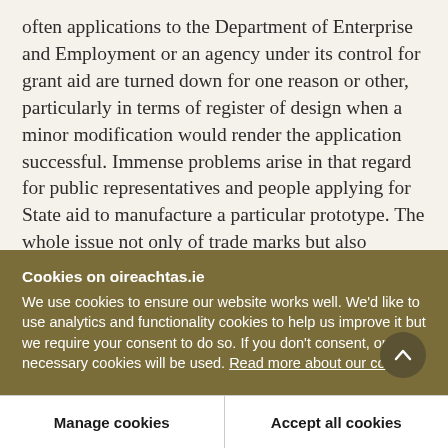often applications to the Department of Enterprise and Employment or an agency under its control for grant aid are turned down for one reason or other, particularly in terms of register of design when a minor modification would render the application successful. Immense problems arise in that regard for public representatives and people applying for State aid to manufacture a particular prototype. The whole issue not only of trade marks but also register of design must be considered with a view to allaying
Cookies on oireachtas.ie
We use cookies to ensure our website works well. We'd like to use analytics and functionality cookies to help us improve it but we require your consent to do so. If you don't consent, only necessary cookies will be used. Read more about our cookies
Manage cookies
Accept all cookies